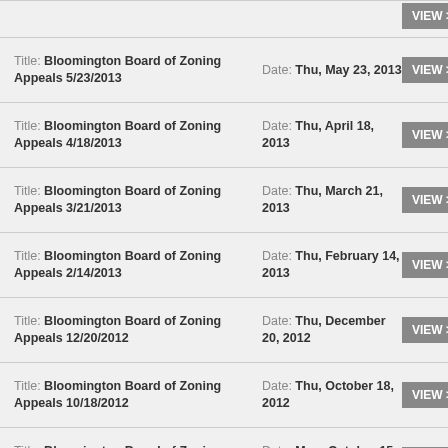Title: Bloomington Board of Zoning Appeals 5/23/2013 | Date: Thu, May 23, 2013 | VIEW >
Title: Bloomington Board of Zoning Appeals 4/18/2013 | Date: Thu, April 18, 2013 | VIEW >
Title: Bloomington Board of Zoning Appeals 3/21/2013 | Date: Thu, March 21, 2013 | VIEW >
Title: Bloomington Board of Zoning Appeals 2/14/2013 | Date: Thu, February 14, 2013 | VIEW >
Title: Bloomington Board of Zoning Appeals 12/20/2012 | Date: Thu, December 20, 2012 | VIEW >
Title: Bloomington Board of Zoning Appeals 10/18/2012 | Date: Thu, October 18, 2012 | VIEW >
Title: Bloomington Board of Zoning Appeals 10/15/2012 | Date: Mon, October 15, 2012 | VIEW >
Title: Bloomington Board of Zoning Appeals 9/20/2012 | Date: Thu, September 20, 2012 | VIEW >
Title: Bloomington Board of Zoning Appeals 8/23/2012 | Date: Thu, August 23, 2012 | VIEW >